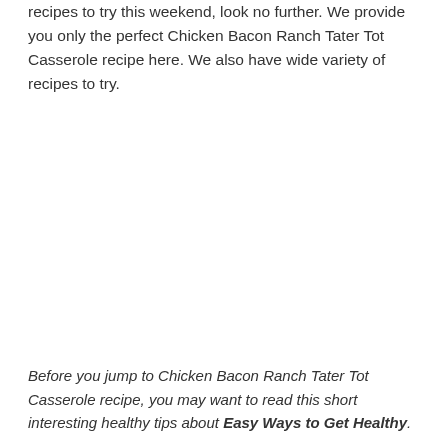recipes to try this weekend, look no further. We provide you only the perfect Chicken Bacon Ranch Tater Tot Casserole recipe here. We also have wide variety of recipes to try.
Before you jump to Chicken Bacon Ranch Tater Tot Casserole recipe, you may want to read this short interesting healthy tips about Easy Ways to Get Healthy.